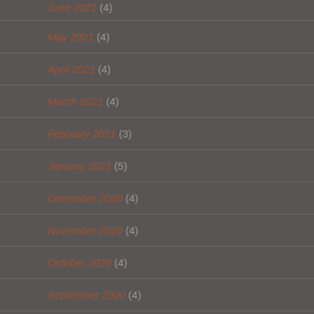June 2021 (4)
May 2021 (4)
April 2021 (4)
March 2021 (4)
February 2021 (3)
January 2021 (5)
December 2020 (4)
November 2020 (4)
October 2020 (4)
September 2020 (4)
August 2020 (4)